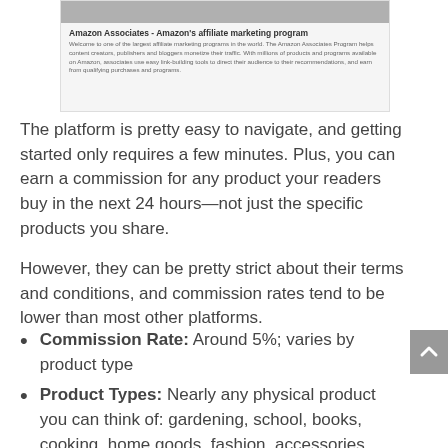[Figure (screenshot): Screenshot of Amazon Associates affiliate marketing program webpage, showing a header image and text description]
Amazon Associates - Amazon's affiliate marketing program
The platform is pretty easy to navigate, and getting started only requires a few minutes. Plus, you can earn a commission for any product your readers buy in the next 24 hours—not just the specific products you share.
However, they can be pretty strict about their terms and conditions, and commission rates tend to be lower than most other platforms.
Commission Rate: Around 5%; varies by product type
Product Types: Nearly any physical product you can think of: gardening, school, books, cooking, home goods, fashion, accessories, makeup, etc